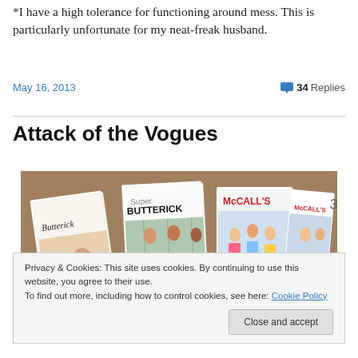*I have a high tolerance for functioning around mess. This is particularly unfortunate for my neat-freak husband.
May 16, 2013
34 Replies
Attack of the Vogues
[Figure (photo): Collection of Butterick and McCall's sewing pattern envelopes spread out on a surface, showing various clothing patterns including women's and children's garments.]
Privacy & Cookies: This site uses cookies. By continuing to use this website, you agree to their use.
To find out more, including how to control cookies, see here: Cookie Policy
Close and accept